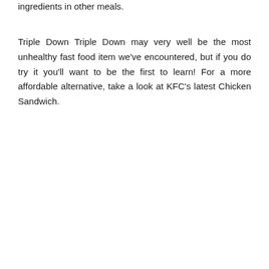ingredients in other meals.
Triple Down Triple Down may very well be the most unhealthy fast food item we've encountered, but if you do try it you'll want to be the first to learn! For a more affordable alternative, take a look at KFC's latest Chicken Sandwich.